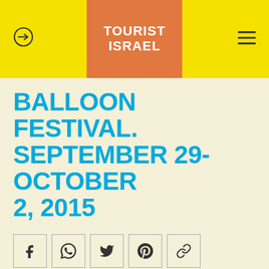TOURIST ISRAEL
BALLOON FESTIVAL. SEPTEMBER 29-OCTOBER 2, 2015
[Figure (other): Social sharing buttons: Facebook, WhatsApp, Twitter, Pinterest, Link]
An international hot air balloon festival will take place in Israel from late September-October 2015, at two locations in the country – at Park Maayan Harod near Mount Gilboa in the Galilee, and at Park Eshkol, in the northern Negev. The festivals bring hot air balloons to